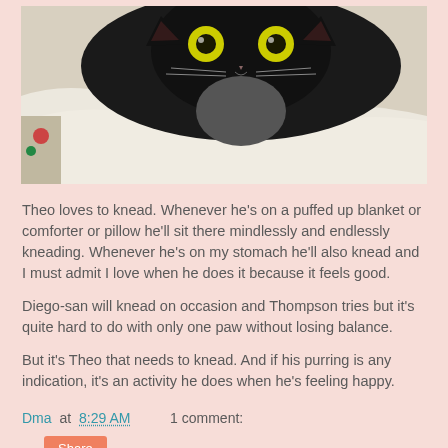[Figure (photo): A black cat lying on white pillows/comforter, looking at the camera with bright yellow-green eyes]
Theo loves to knead. Whenever he's on a puffed up blanket or comforter or pillow he'll sit there mindlessly and endlessly kneading. Whenever he's on my stomach he'll also knead and I must admit I love when he does it because it feels good.
Diego-san will knead on occasion and Thompson tries but it's quite hard to do with only one paw without losing balance.
But it's Theo that needs to knead. And if his purring is any indication, it's an activity he does when he's feeling happy.
Dma at 8:29 AM    1 comment:
Share